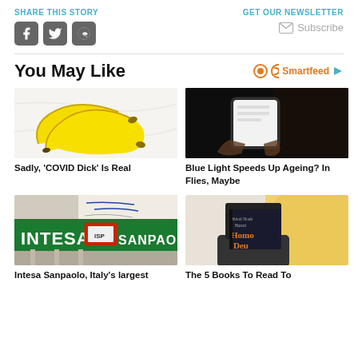SHARE THIS STORY
GET OUR NEWSLETTER
Subscribe
You May Like
[Figure (photo): Two yellow bananas on a white marble surface]
Sadly, 'COVID Dick' Is Real
[Figure (photo): Person holding a smartphone in a dark setting]
Blue Light Speeds Up Ageing? In Flies, Maybe
[Figure (photo): Intesa Sanpaolo bank building signage]
Intesa Sanpaolo, Italy's largest
[Figure (photo): Person holding a book 'Homo Deus' by Yuval Noah Harari in front of their face]
The 5 Books To Read To